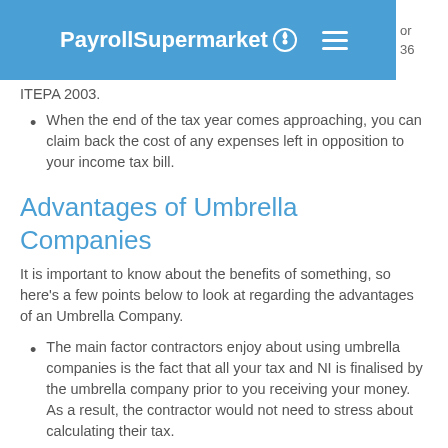PayrollSupermarket
ITEPA 2003.
When the end of the tax year comes approaching, you can claim back the cost of any expenses left in opposition to your income tax bill.
Advantages of Umbrella Companies
It is important to know about the benefits of something, so here's a few points below to look at regarding the advantages of an Umbrella Company.
The main factor contractors enjoy about using umbrella companies is the fact that all your tax and NI is finalised by the umbrella company prior to you receiving your money. As a result, the contractor would not need to stress about calculating their tax.